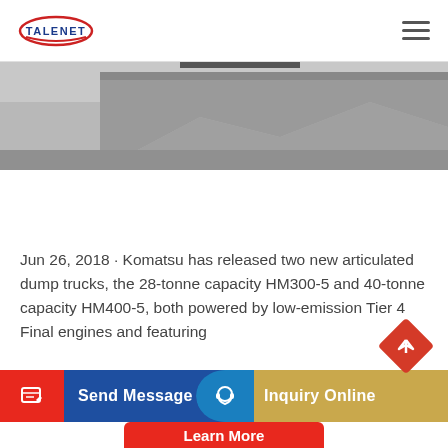TALENET
[Figure (photo): Partial view of a Komatsu articulated dump truck on a grey surface, showing the rear/middle section of the truck bed.]
Jun 26, 2018 · Komatsu has released two new articulated dump trucks, the 28-tonne capacity HM300-5 and 40-tonne capacity HM400-5, both powered by low-emission Tier 4 Final engines and featuring
[Figure (other): Send Message button (blue with red icon box)]
[Figure (other): Inquiry Online button (tan/gold with blue icon)]
[Figure (other): Back to top diamond-shaped red button with up arrow]
[Figure (other): Learn More button (red, partially visible at bottom)]